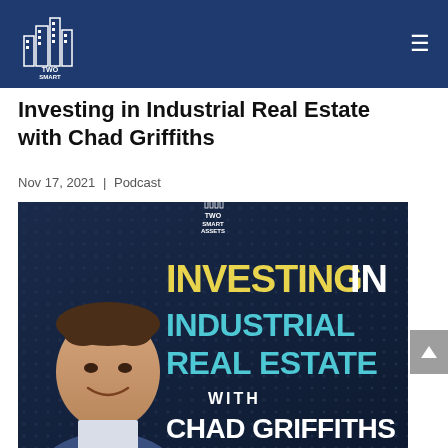Two Smart Assets — Navigation header with logo and hamburger menu
Investing in Industrial Real Estate with Chad Griffiths
Nov 17, 2021 | Podcast
[Figure (photo): Podcast cover art for 'Investing in Industrial Real Estate with Chad Griffiths' on Two Smart Assets. Dark blue background with yellow 'INVESTING IN', cyan 'INDUSTRIAL REAL ESTATE', white 'WITH', bold white 'CHAD GRIFFITHS' text, Two Smart Assets logo at top, and photo of Chad Griffiths on the left side.]